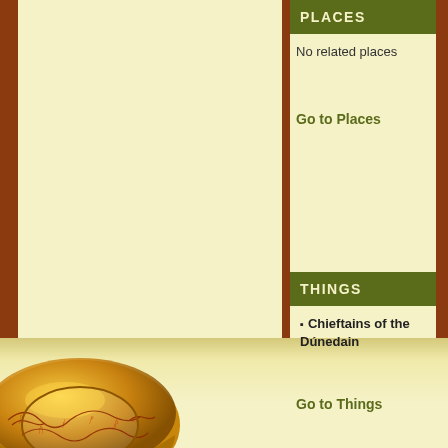No related places
Go to Places
THINGS
Chieftains of the Dúnedain
Go to Things
[Figure (illustration): Gold ring with Elvish script inscriptions (The One Ring from Lord of the Rings), shown at bottom-left of page]